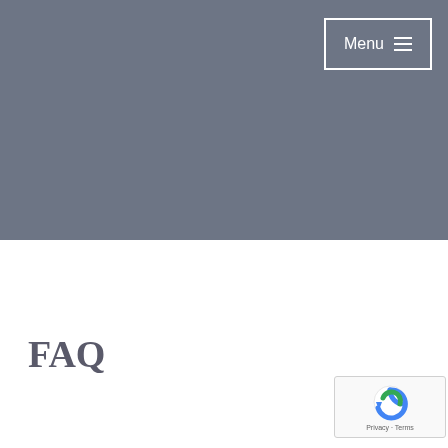[Figure (other): Gray hero/banner section occupying the top half of the page]
Menu ☰
FAQ
[Figure (other): reCAPTCHA badge with rotating arrow icon and Privacy - Terms text]